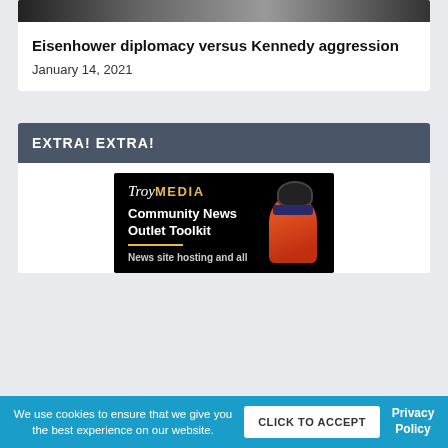[Figure (photo): Black and white photograph of people, partially visible at top of page]
Eisenhower diplomacy versus Kennedy aggression
January 14, 2021
EXTRA! EXTRA!
[Figure (advertisement): TroyMedia Community News Outlet Toolkit advertisement with cartoon plumber character. Black background with gold TroyMedia logo, bold white text reading Community News Outlet Toolkit, yellow underline, and text News site hosting and all]
We use cookies to ensure that we give you the best experience on our website.
CLICK TO ACCEPT
Privacy Policy